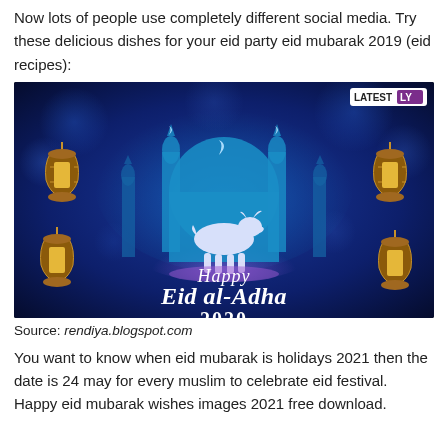Now lots of people use completely different social media. Try these delicious dishes for your eid party eid mubarak 2019 (eid recipes):
[Figure (illustration): Happy Eid al-Adha 2020 greeting image with blue background, mosque silhouette, goat silhouette, and decorative lanterns. LATESTLY watermark in top right corner.]
Source: rendiya.blogspot.com
You want to know when eid mubarak is holidays 2021 then the date is 24 may for every muslim to celebrate eid festival. Happy eid mubarak wishes images 2021 free download.